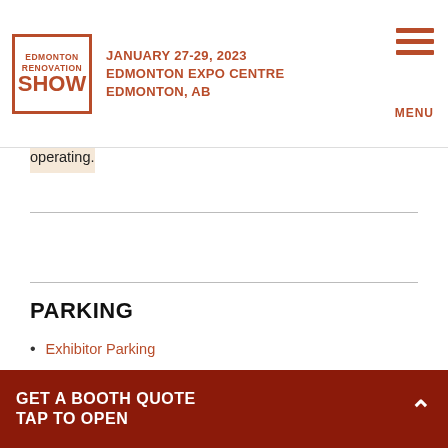Edmonton Renovation Show — January 27-29, 2023 — Edmonton Expo Centre, Edmonton, AB
operating.
PARKING
Exhibitor Parking
Online order link
Pre-purchase your parking pass through Edmonton
GET A BOOTH QUOTE TAP TO OPEN